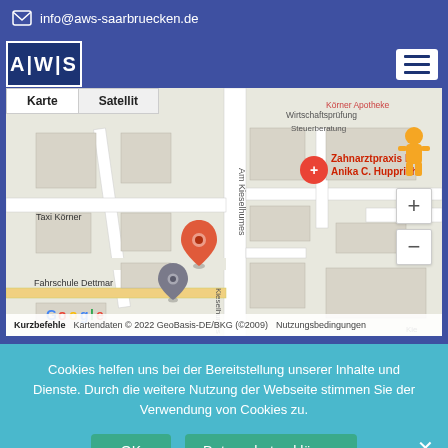info@aws-saarbruecken.de
[Figure (screenshot): AWS Saarbrücken logo with text Wirtschaftsprüfung, Steuerberatung and map showing Kieselhumes street area with markers for Zahnarztpraxis Dr. Anika C. Hupprich, Taxi Körner, Fahrschule Dettmar. Map controls include Karte/Satellit tabs, pegman, zoom +/-. Bottom bar: Kurzbefehle, Kartendaten © 2022 GeoBasis-DE/BKG (©2009), Nutzungsbedingungen]
Cookies helfen uns bei der Bereitstellung unserer Inhalte und Dienste. Durch die weitere Nutzung der Webseite stimmen Sie der Verwendung von Cookies zu.